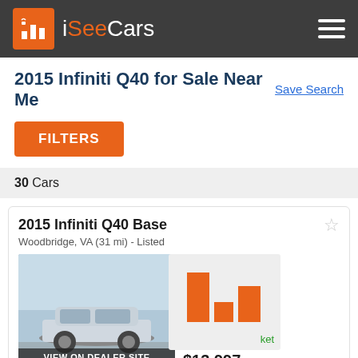iSeeCars
2015 Infiniti Q40 for Sale Near Me
Save Search
FILTERS
30 Cars
2015 Infiniti Q40 Base
Woodbridge, VA (31 mi) - Listed
[Figure (bar-chart): Bar chart showing price comparison with market, bars in orange on grey background]
VIEW ON DEALER SITE
$13,997
108,709 mi
dealer rating
2015 Infiniti Q40 Base